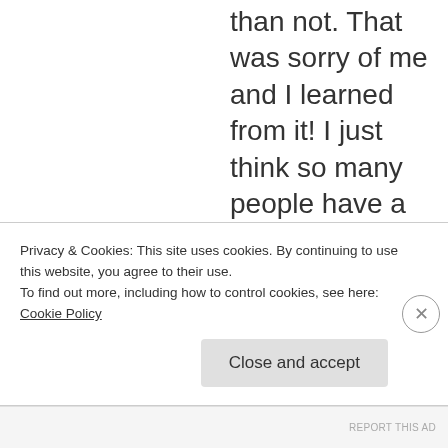than not. That was sorry of me and I learned from it! I just think so many people have a what is in it for me type of mindset. I have known plenty of people who got married because they liked the paycheck that their spouse was bringing home or their spouse bought them a bunch of stuff or their spouse planned to sign the
Privacy & Cookies: This site uses cookies. By continuing to use this website, you agree to their use.
To find out more, including how to control cookies, see here: Cookie Policy
Close and accept
REPORT THIS AD